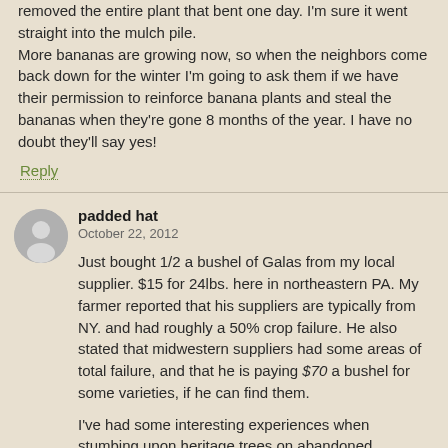removed the entire plant that bent one day. I'm sure it went straight into the mulch pile.
More bananas are growing now, so when the neighbors come back down for the winter I'm going to ask them if we have their permission to reinforce banana plants and steal the bananas when they're gone 8 months of the year. I have no doubt they'll say yes!
Reply
padded hat
October 22, 2012
Just bought 1/2 a bushel of Galas from my local supplier. $15 for 24lbs. here in northeastern PA. My farmer reported that his suppliers are typically from NY. and had roughly a 50% crop failure. He also stated that midwestern suppliers had some areas of total failure, and that he is paying $70 a bushel for some varieties, if he can find them.
I've had some interesting experiences when stumbing upon heritage trees on abandoned homesteads, in the PA. woods. Some of these apples are delicious, some are so bad you wonder how the Deer keep them down? Had the same experience with citrus in the backwoods of FL.